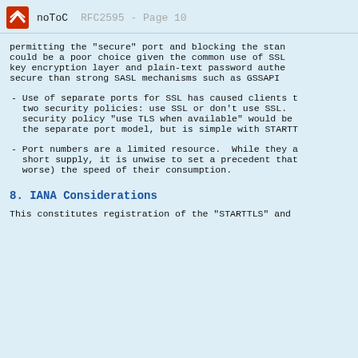noToC    RFC2595 - Page 10
permitting the "secure" port and blocking the stan could be a poor choice given the common use of SSL key encryption layer and plain-text password authe secure than strong SASL mechanisms such as GSSAPI
- Use of separate ports for SSL has caused clients t two security policies: use SSL or don't use SSL. security policy "use TLS when available" would be the separate port model, but is simple with STARTT
- Port numbers are a limited resource.  While they a short supply, it is unwise to set a precedent that worse) the speed of their consumption.
8. IANA Considerations
This constitutes registration of the "STARTTLS" and